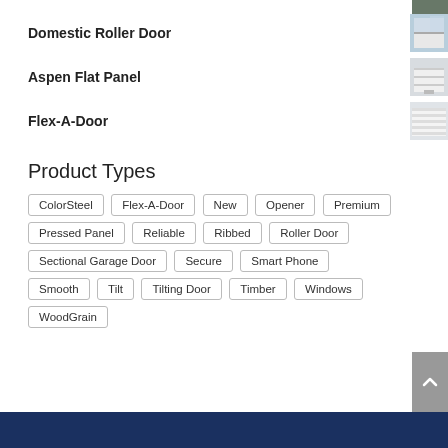Domestic Roller Door
Aspen Flat Panel
Flex-A-Door
Product Types
ColorSteel  Flex-A-Door  New  Opener  Premium  Pressed Panel  Reliable  Ribbed  Roller Door  Sectional Garage Door  Secure  Smart Phone  Smooth  Tilt  Tilting Door  Timber  Windows  WoodGrain